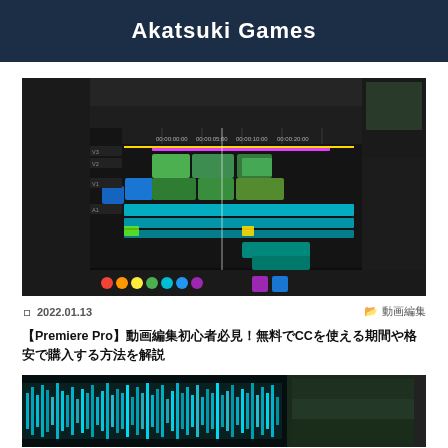Akatsuki Games
[Figure (screenshot): Adobe Premiere Pro video editing software timeline screenshot showing multiple video and audio tracks with colorful clip segments (teal, pink, green) arranged on a dark background interface]
2022.01.13
動画編集
【Premiere Pro】動画編集初心者必見！無料でCCを使える期間や格安で購入する方法を解説
[Figure (screenshot): Adobe Premiere Pro audio waveform editing view showing teal/green audio waveforms on a dark background with a video preview panel visible on the right side]